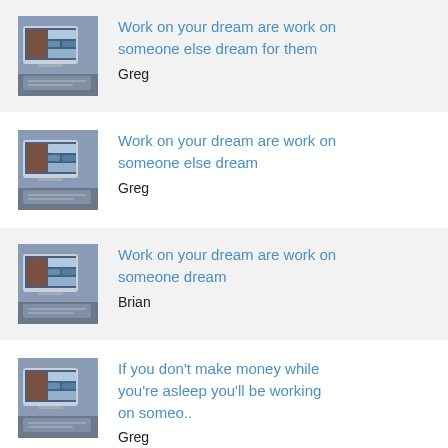[Figure (photo): Thumbnail image of a tablet/laptop device on a desk]
Work on your dream are work on someone else dream for them
Greg
[Figure (photo): Thumbnail image of a tablet/laptop device on a desk]
Work on your dream are work on someone else dream
Greg
[Figure (photo): Thumbnail image of a tablet/laptop device on a desk]
Work on your dream are work on someone else dream
Brian
[Figure (photo): Thumbnail image of a tablet/laptop device on a desk]
If you don't make money while you're asleep you'll be working on someo..
Greg